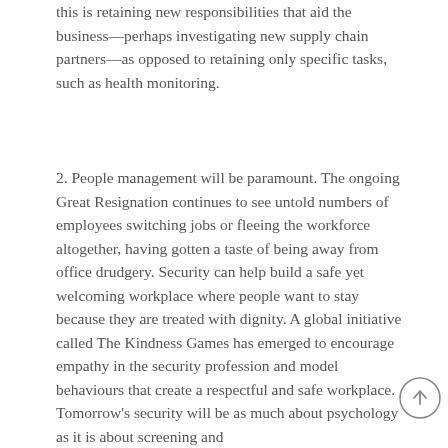this is retaining new responsibilities that aid the business—perhaps investigating new supply chain partners—as opposed to retaining only specific tasks, such as health monitoring.
2. People management will be paramount. The ongoing Great Resignation continues to see untold numbers of employees switching jobs or fleeing the workforce altogether, having gotten a taste of being away from office drudgery. Security can help build a safe yet welcoming workplace where people want to stay because they are treated with dignity. A global initiative called The Kindness Games has emerged to encourage empathy in the security profession and model behaviours that create a respectful and safe workplace. Tomorrow's security will be as much about psychology as it is about screening and